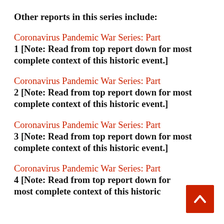Other reports in this series include:
Coronavirus Pandemic War Series: Part 1 [Note: Read from top report down for most complete context of this historic event.]
Coronavirus Pandemic War Series: Part 2 [Note: Read from top report down for most complete context of this historic event.]
Coronavirus Pandemic War Series: Part 3 [Note: Read from top report down for most complete context of this historic event.]
Coronavirus Pandemic War Series: Part 4 [Note: Read from top report down for most complete context of this historic event.]